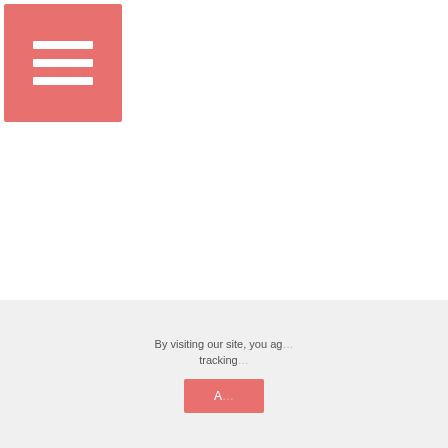[Figure (screenshot): Pink/salmon colored menu button with three white horizontal lines (hamburger menu icon) in top-left corner of a website]
By visiting our site, you ag... tracking...
[Figure (screenshot): MiloTree popup widget showing Pinterest recommended pinner 'Teeliesfairygarden' with a red Pinterest logo, avatar, strip of colorful fairy garden images, and 'Powered by MiloTree' footer with purple M icon]